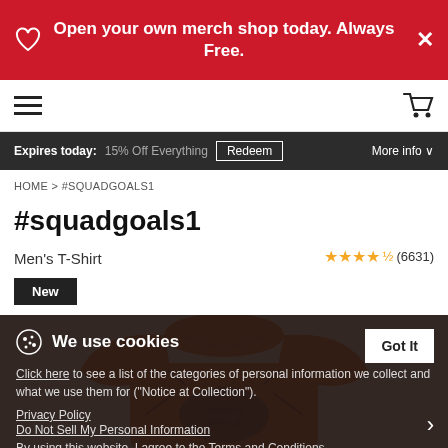Open your own merch shop today. Always Free.
Expires today: 15% Off Everything  Redeem  More info
HOME > #SQUADGOALS1
#squadgoals1
Men's T-Shirt
★★★★½ (6631)
New
[Figure (photo): Orange men's t-shirt with #squadgoals1 graphic print in dark ink]
We use cookies
Click here to see a list of the categories of personal information we collect and what we use them for ("Notice at Collection").
Privacy Policy
Do Not Sell My Personal Information
By using this website, I agree to the Terms and Conditions